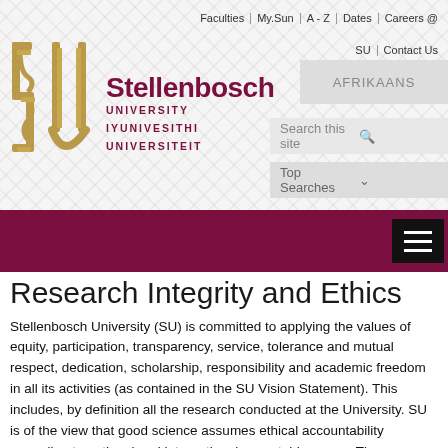Faculties | My.Sun | A-Z | Dates | Careers @ SU | Contact Us
[Figure (logo): Stellenbosch University logo: gold stylized SU emblem with text 'Stellenbosch UNIVERSITY IYUNIVESITHI UNIVERSITEIT']
Research Integrity and Ethics
Stellenbosch University (SU) is committed to applying the values of equity, participation, transparency, service, tolerance and mutual respect, dedication, scholarship, responsibility and academic freedom in all its activities (as contained in the SU Vision Statement). This includes, by definition all the research conducted at the University. SU is of the view that good science assumes ethical accountability according to national and international acceptable norms. The responsibility for this lies with every person conducting research under the auspices of SU.